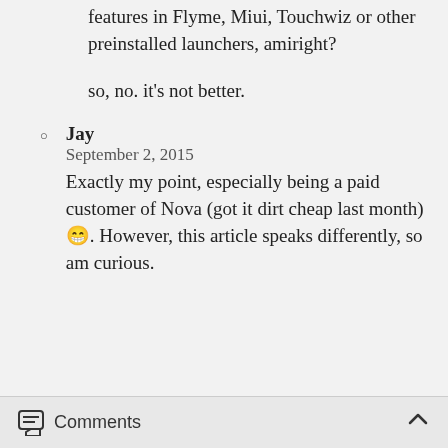features in Flyme, Miui, Touchwiz or other preinstalled launchers, amiright?
so, no. it's not better.
Jay
September 2, 2015
Exactly my point, especially being a paid customer of Nova (got it dirt cheap last month) 😁. However, this article speaks differently, so am curious.
Comments